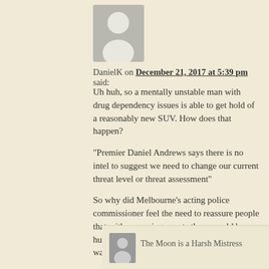[Figure (illustration): Gray placeholder avatar silhouette icon]
DanielK on December 21, 2017 at 5:39 pm said:
Uh huh, so a mentally unstable man with drug dependency issues is able to get hold of a reasonably new SUV. How does that happen?
“Premier Daniel Andrews says there is no intel to suggest we need to change our current threat level or threat assessment”
So why did Melbourne’s acting police commissioner feel the need to reassure people that with upcoming events there would be hundreds more police on the streets if this was a one off?
They don’t know that, they’re playing Pollyanna.
Also who walks around with three knives in their bag?
The Moon is a Harsh Mistress